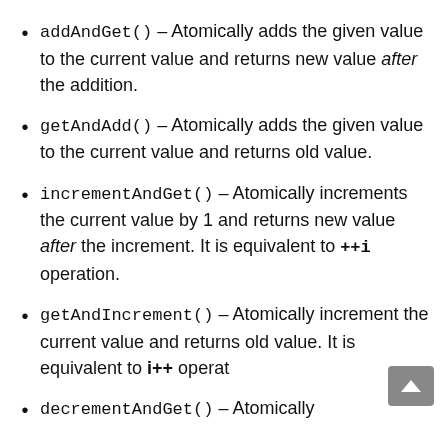addAndGet() – Atomically adds the given value to the current value and returns new value after the addition.
getAndAdd() – Atomically adds the given value to the current value and returns old value.
incrementAndGet() – Atomically increments the current value by 1 and returns new value after the increment. It is equivalent to ++i operation.
getAndIncrement() – Atomically increment the current value and returns old value. It is equivalent to i++ operat
decrementAndGet() – Atomically